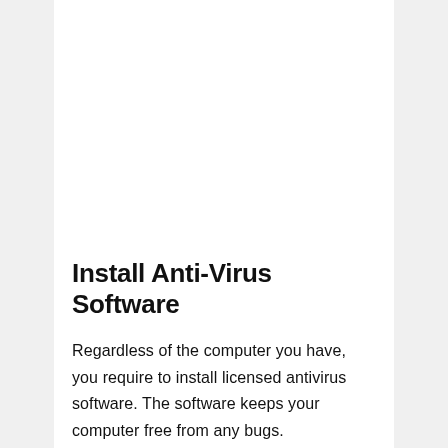Install Anti-Virus Software
Regardless of the computer you have, you require to install licensed antivirus software. The software keeps your computer free from any bugs. Downloading antivirus software from random websites may introduce malware to your computer. As a result, hackers may access your